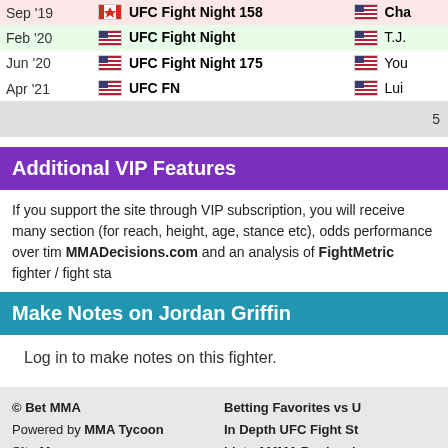| Date | Event | Opponent |
| --- | --- | --- |
| Sep '19 | 🇨🇦 UFC Fight Night 158 | 🇺🇸 Cha... |
| Feb '20 | 🇺🇸 UFC Fight Night | 🇺🇸 T.J.... |
| Jun '20 | 🇺🇸 UFC Fight Night 175 | 🇺🇸 You... |
| Apr '21 | 🇺🇸 UFC FN | 🇺🇸 Lui... |
5
Additional VIP Features
If you support the site through VIP subscription, you will receive many section (for reach, height, age, stance etc), odds performance over time, MMADecisions.com and an analysis of FightMetric fighter / fight stats...
Make Notes on Jordan Griffin
Log in to make notes on this fighter.
© Bet MMA
Powered by MMA Tycoon
Site Map
Homepage
Free UFC Betting Tips
MMA Betting Blog

Betting Favorites vs U...
In Depth UFC Fight St...
List of MMA Bookmakers
Best MMA Tipsters
Next UFC Event